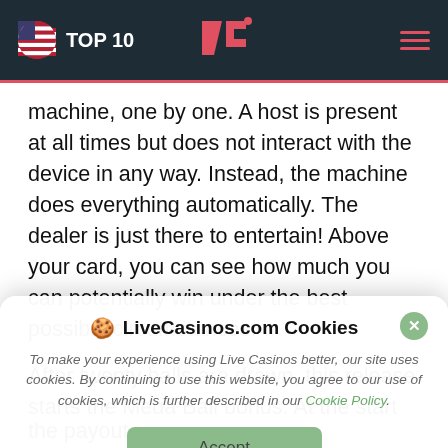TOP 10 | CL logo | hamburger menu
machine, one by one. A host is present at all times but does not interact with the device in any way. Instead, the machine does everything automatically. The dealer is just there to entertain! Above your card, you can see how much you can potentially win under the best possible circumstances.
After twenty balls are drawn, this release starts the Mega Ball bonus. At the start of the bonus, the RNG-
[Figure (screenshot): Cookie consent popup for LiveCasinos.com with title '🍪 LiveCasinos.com Cookies', body text about cookie usage, a link to Cookie Policy, an Accept button, and a close (X) button.]
the payout.